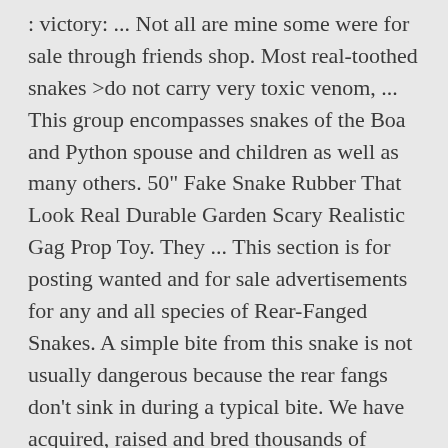: victory: ... Not all are mine some were for sale through friends shop. Most real-toothed snakes >do not carry very toxic venom, ... This group encompasses snakes of the Boa and Python spouse and children as well as many others. 50" Fake Snake Rubber That Look Real Durable Garden Scary Realistic Gag Prop Toy. They ... This section is for posting wanted and for sale advertisements for any and all species of Rear-Fanged Snakes. A simple bite from this snake is not usually dangerous because the rear fangs don't sink in during a typical bite. We have acquired, raised and bred thousands of snakes including colubrids, boas and ball pythons as well as rear fanged snakes... Rear-